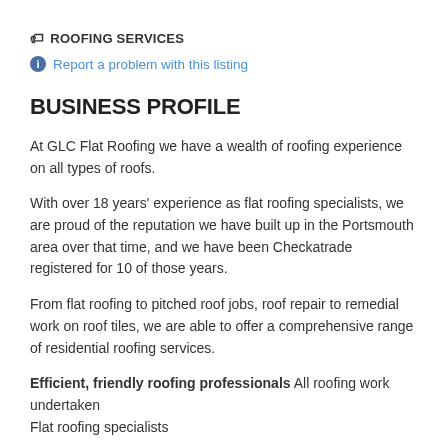🏷 ROOFING SERVICES
ℹ Report a problem with this listing
BUSINESS PROFILE
At GLC Flat Roofing we have a wealth of roofing experience on all types of roofs.
With over 18 years' experience as flat roofing specialists, we are proud of the reputation we have built up in the Portsmouth area over that time, and we have been Checkatrade registered for 10 of those years.
From flat roofing to pitched roof jobs, roof repair to remedial work on roof tiles, we are able to offer a comprehensive range of residential roofing services.
Efficient, friendly roofing professionals All roofing work undertaken Flat roofing specialists